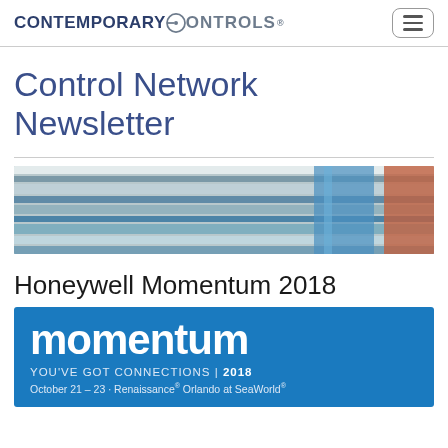CONTEMPORARY CONTROLS — hamburger menu button
Control Network Newsletter
[Figure (photo): Close-up photo of stacked electronic circuit boards or books with blue, grey, and orange spines viewed from above at an angle]
Honeywell Momentum 2018
[Figure (infographic): Blue banner for Honeywell Momentum 2018 event. Large white text reads 'momentum'. Tagline: 'YOU'VE GOT CONNECTIONS | 2018'. Date line: 'October 21 – 23 · Renaissance® Orlando at SeaWorld®']